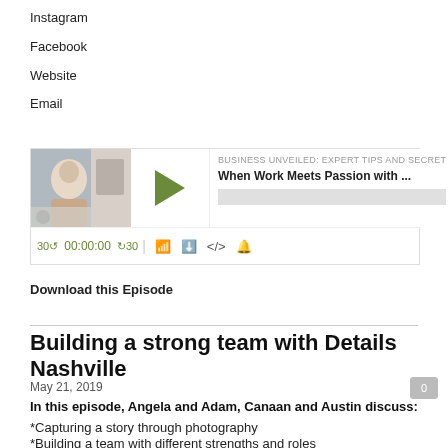Instagram
Facebook
Website
Email
[Figure (screenshot): Podcast player widget showing 'Business Unveiled: Expert Tips and Secret' podcast, episode 'When Work Meets Passion with ...', with play button, timestamp 00:00:00, skip controls 30s back and forward, and media icons]
Download this Episode
Building a strong team with Details Nashville
May 21, 2019
In this episode, Angela and Adam, Canaan and Austin discuss:
*Capturing a story through photography
*Building a team with different strengths and roles